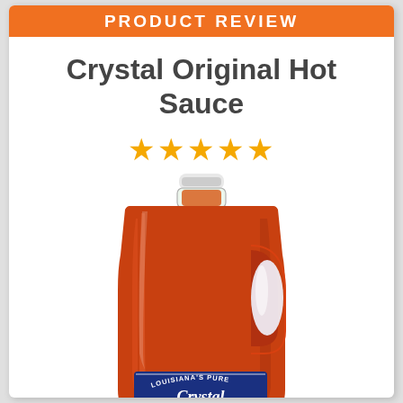PRODUCT REVIEW
Crystal Original Hot Sauce
★★★★★
[Figure (photo): Large gallon jug of Crystal Original Hot Sauce, a red-orange hot sauce in a clear plastic jug with a white cap and Crystal brand label at the bottom.]